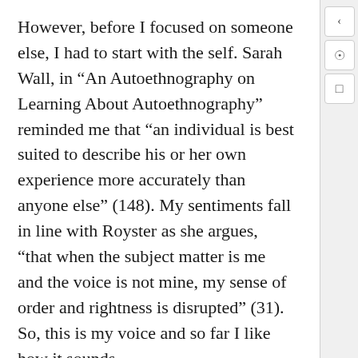However, before I focused on someone else, I had to start with the self. Sarah Wall, in “An Autoethnography on Learning About Autoethnography” reminded me that “an individual is best suited to describe his or her own experience more accurately than anyone else” (148). My sentiments fall in line with Royster as she argues, “that when the subject matter is me and the voice is not mine, my sense of order and rightness is disrupted” (31). So, this is my voice and so far I like how it sounds.
Related to the construction of my voice is my identity because my voice is a part of that… it makes up a part of who I am as a person. It is still important, though, to single out identity and break